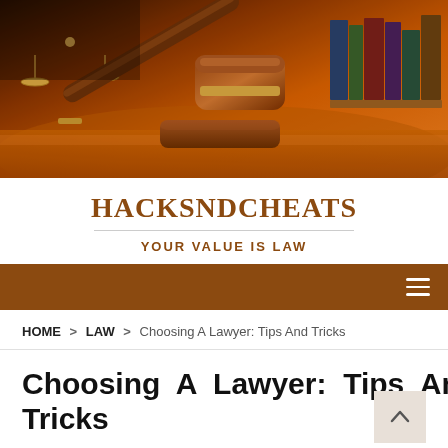[Figure (photo): Hero image showing a judge's gavel, scales of justice, and law books on a warm orange-toned wooden desk background.]
HACKSNDCHEATS
YOUR VALUE IS LAW
≡ (navigation menu icon)
HOME > LAW > Choosing A Lawyer: Tips And Tricks
Choosing A Lawyer: Tips And Tricks